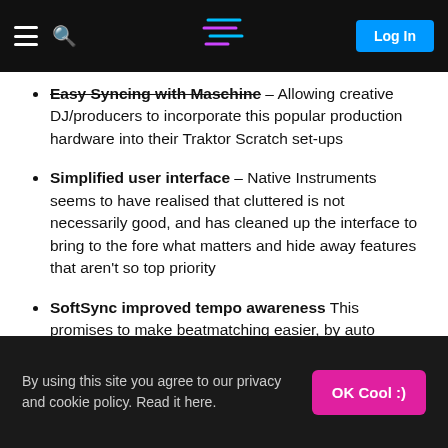Navigation header with hamburger menu, search icon, logo, and Log In button
Easy Syncing with Maschine – Allowing creative DJ/producers to incorporate this popular production hardware into their Traktor Scratch set-ups
Simplified user interface – Native Instruments seems to have realised that cluttered is not necessarily good, and has cleaned up the interface to bring to the fore what matters and hide away features that aren't so top priority
SoftSync improved tempo awareness This promises to make beatmatching easier, by auto beatgridding and phrase matching
The company also promises easier plug and play, easier DJ switching in clubs with the direct thru function on the Audio 10, and "Cirrus Logic® converters for supreme audio quality", plus an "after party" featuring allowing internal control so you
By using this site you agree to our privacy and cookie policy. Read it here.   OK Cool :)